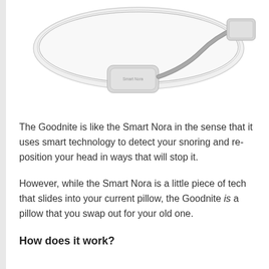[Figure (photo): Product photo of a Smart Nora device: a white pillow with a small grey insert device connected by a flexible grey cable to a compact grey rectangular unit.]
The Goodnite is like the Smart Nora in the sense that it uses smart technology to detect your snoring and re-position your head in ways that will stop it.
However, while the Smart Nora is a little piece of tech that slides into your current pillow, the Goodnite is a pillow that you swap out for your old one.
How does it work?